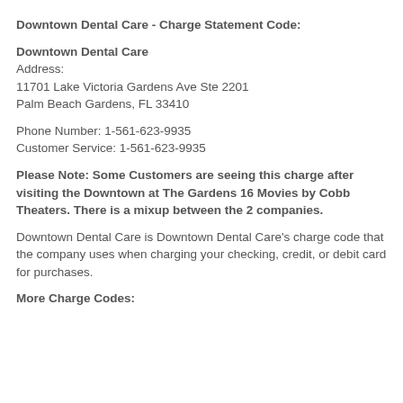Downtown Dental Care - Charge Statement Code:
Downtown Dental Care
Address:
11701 Lake Victoria Gardens Ave Ste 2201
Palm Beach Gardens, FL 33410
Phone Number: 1-561-623-9935
Customer Service: 1-561-623-9935
Please Note: Some Customers are seeing this charge after visiting the Downtown at The Gardens 16 Movies by Cobb Theaters. There is a mixup between the 2 companies.
Downtown Dental Care is Downtown Dental Care's charge code that the company uses when charging your checking, credit, or debit card for purchases.
More Charge Codes: